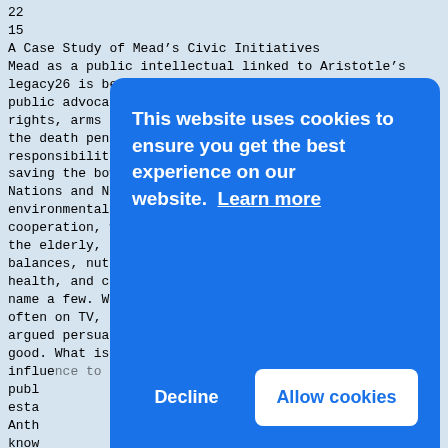22
15
A Case Study of Mead’s Civic Initiatives
Mead as a public intellectual linked to Aristotle’s legacy26 is better known for her public advocacy on a wide variety of issues: civil rights, arms control and disarmament, the death penalty, industrial peace, media responsibility, monitoring plutonium hazards, saving the bowhead whale, strengthening the United Nations and Non-Governmental environmental groups, promoting intergenerational cooperation, welfare of children and the elderly, designing new towns, food and population balances, nutrition and mental health, and citizen engagement in world affairs, to name a few. With words and images, often on TV, and before members of Congress, she argued persuasively for the public good. What is less well known is how she used her influence to mobilizing academic and publ... esta... Anth... know... Arch... Mead... cond... pers... proj... befo... needed to build on earlier nongovernmental support).
[Figure (screenshot): Cookie consent overlay with blue background. Text reads: 'This website uses cookies to ensure you get the best experience on our website. Learn more' with two buttons: 'Decline' and 'Allow cookies'.]